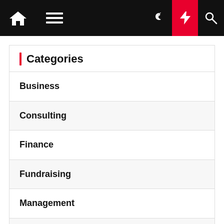Navigation bar with home, menu, moon, flash, and search icons
Categories
Business
Consulting
Finance
Fundraising
Management
Marketing Strategy
Partner links